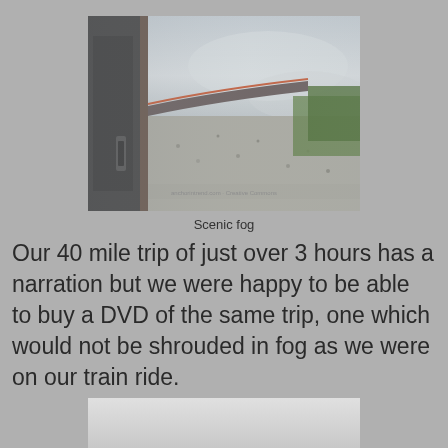[Figure (photo): View from inside a train looking along the side of the train cars curving into foggy landscape with gravel embankment and green trees, misty gray sky]
Scenic fog
Our 40 mile trip of just over 3 hours has a narration but we were happy to be able to buy a DVD of the same trip, one which would not be shrouded in fog as we were on our train ride.
[Figure (photo): Bottom of another photo, partially visible, light gray gradient]